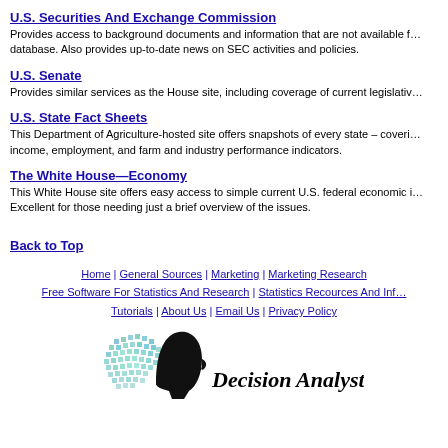U.S. Securities And Exchange Commission
Provides access to background documents and information that are not available from the EDGAR database. Also provides up-to-date news on SEC activities and policies.
U.S. Senate
Provides similar services as the House site, including coverage of current legislative
U.S. State Fact Sheets
This Department of Agriculture-hosted site offers snapshots of every state – covering income, employment, and farm and industry performance indicators.
The White House—Economy
This White House site offers easy access to simple current U.S. federal economic information. Excellent for those needing just a brief overview of the issues.
Back to Top
Home | General Sources | Marketing | Marketing Research | Free Software For Statistics And Research | Statistics Recources And Info | Tutorials | About Us | Email Us | Privacy Policy
[Figure (logo): Decision Analyst, Inc. logo with stylized head silhouette]